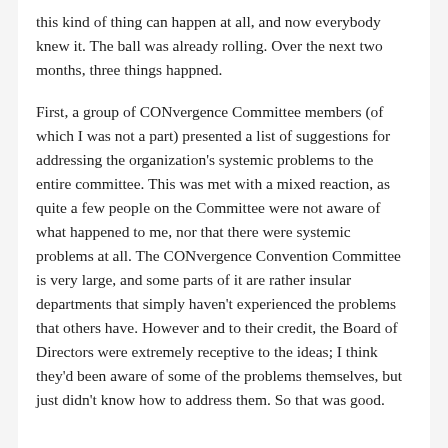this kind of thing can happen at all, and now everybody knew it. The ball was already rolling. Over the next two months, three things happned.
First, a group of CONvergence Committee members (of which I was not a part) presented a list of suggestions for addressing the organization's systemic problems to the entire committee. This was met with a mixed reaction, as quite a few people on the Committee were not aware of what happened to me, nor that there were systemic problems at all. The CONvergence Convention Committee is very large, and some parts of it are rather insular departments that simply haven't experienced the problems that others have. However and to their credit, the Board of Directors were extremely receptive to the ideas; I think they'd been aware of some of the problems themselves, but just didn't know how to address them. So that was good.